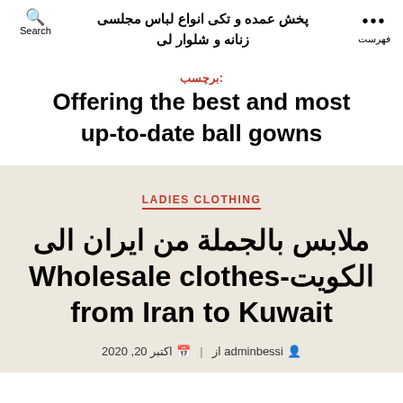پخش عمده و تکی انواع لباس مجلسی زنانه و شلوار لی
برچسب: Offering the best and most up-to-date ball gowns
LADIES CLOTHING
ملابس بالجملة من ایران الى الکویت- Wholesale clothes from Iran to Kuwait
از adminbessi  اکتبر 20, 2020